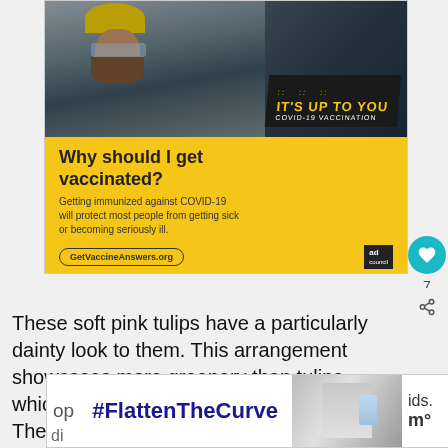[Figure (photo): COVID-19 vaccination advertisement. Top photo of bearded man with yellow hard hat. Yellow background section reads 'Why should I get vaccinated? Getting immunized against COVID-19 will protect most people from getting sick or becoming seriously ill. GetVaccineAnswers.org' with Ad Council logo. Text overlay: 'IT'S UP TO YOU :: COVID-19 VACCINATION']
These soft pink tulips have a particularly dainty look to them. This arrangement showcases more greenery than tulips, which makes the t more visually intriguing. These flowers have
[Figure (screenshot): 'WHAT'S NEXT' popup showing '30+ Stunning Tulip Plantin...' with a thumbnail of garden with tulips]
[Figure (photo): Bottom ad banner showing '#FlattenTheCurve' text on blue/white background with photo of hands under running water faucet. Contains a close button and partial text on left and right sides.]
op
ids.
di
ous